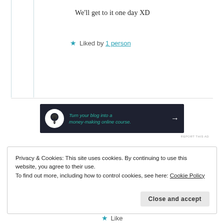We'll get to it one day XD
★ Liked by 1 person
[Figure (infographic): Dark banner advertisement: bonsai tree icon in white circle, teal italic text 'Turn your blog into a money-making online course.' with white arrow pointing right]
REPORT THIS AD
Privacy & Cookies: This site uses cookies. By continuing to use this website, you agree to their use.
To find out more, including how to control cookies, see here: Cookie Policy
Close and accept
★ Like